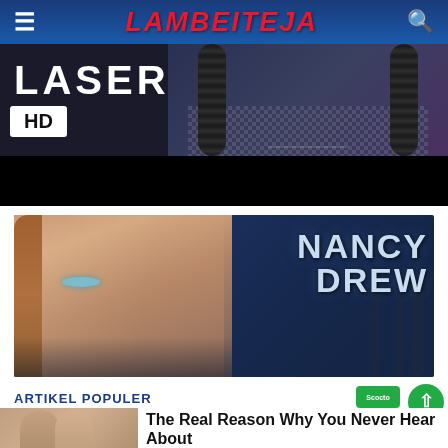LAMBEITEJA
[Figure (screenshot): Movie/video screenshot showing HD badge and 'LASER' text with a person with braids in checkered clothing]
[Figure (photo): Nancy Drew TV show promotional image showing a blonde woman with blue eyes and 'NANCY DREW' title text]
ARTIKEL POPULER
[Figure (photo): Thumbnail of two women]
The Real Reason Why You Never Hear About